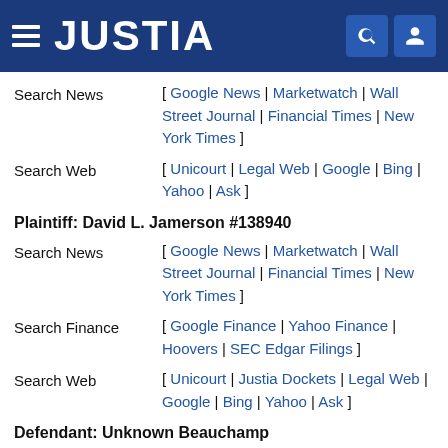JUSTIA
Search News [ Google News | Marketwatch | Wall Street Journal | Financial Times | New York Times ]
Search Web [ Unicourt | Legal Web | Google | Bing | Yahoo | Ask ]
Plaintiff: David L. Jamerson #138940
Search News [ Google News | Marketwatch | Wall Street Journal | Financial Times | New York Times ]
Search Finance [ Google Finance | Yahoo Finance | Hoovers | SEC Edgar Filings ]
Search Web [ Unicourt | Justia Dockets | Legal Web | Google | Bing | Yahoo | Ask ]
Defendant: Unknown Beauchamp